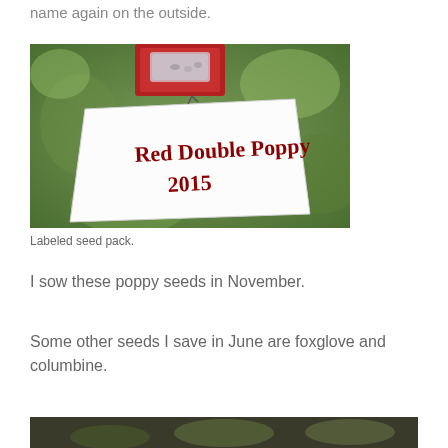name again on the outside.
[Figure (photo): A labeled seed packet held in hand, handwritten text reads 'Red Double Poppy 2015' on a white paper envelope, with a small red seed packet visible at top, green blurred garden background.]
Labeled seed pack.
I sow these poppy seeds in November.
Some other seeds I save in June are foxglove and columbine.
[Figure (photo): Partial view of another garden photograph at the bottom of the page.]